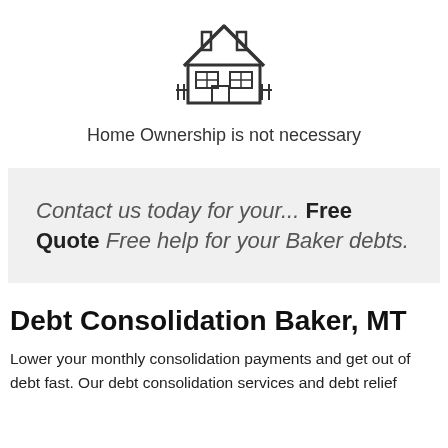[Figure (illustration): Simple line-art icon of a house with two windows and a door, centered at top of page]
Home Ownership is not necessary
Contact us today for your... Free Quote Free help for your Baker debts.
Debt Consolidation Baker, MT
Lower your monthly consolidation payments and get out of debt fast. Our debt consolidation services and debt relief